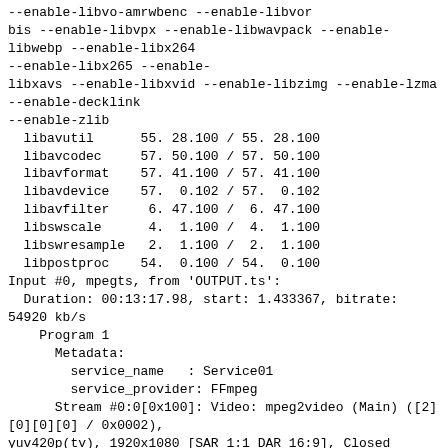--enable-libvo-amrwbenc --enable-libvor
bis --enable-libvpx --enable-libwavpack --enable-
libwebp --enable-libx264
--enable-libx265 --enable-
libxavs --enable-libxvid --enable-libzimg --enable-lzma
--enable-decklink
--enable-zlib
  libavutil      55. 28.100 / 55. 28.100
  libavcodec     57. 50.100 / 57. 50.100
  libavformat    57. 41.100 / 57. 41.100
  libavdevice    57.  0.102 / 57.  0.102
  libavfilter     6. 47.100 /  6. 47.100
  libswscale      4.  1.100 /  4.  1.100
  libswresample   2.  1.100 /  2.  1.100
  libpostproc    54.  0.100 / 54.  0.100
Input #0, mpegts, from 'OUTPUT.ts':
  Duration: 00:13:17.98, start: 1.433367, bitrate:
54920 kb/s
    Program 1
      Metadata:
        service_name   : Service01
        service_provider: FFmpeg
      Stream #0:0[0x100]: Video: mpeg2video (Main) ([2]
[0][0][0] / 0x0002),
yuv420p(tv), 1920x1080 [SAR 1:1 DAR 16:9], Closed
Captions, 50000 kb/s,
29.97 fps, 29.97 tbr, 90k tbn, 59.94 tbc
      Stream #0:1[0x101](por): Audio: ac3 ([129][0][0][0]
/ 0x0081), 48000
Hz, stereo, fltp, 448 kb/s